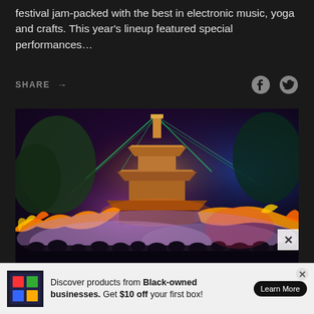festival jam-packed with the best in electronic music, yoga and crafts. This year's lineup featured special performances…
SHARE →
[Figure (photo): Night festival scene with illuminated pagoda tower, colorful laser lights, dragon decorations with flames, and crowd of silhouetted attendees under vivid purple, green, red, and blue lighting]
Discover products from Black-owned businesses. Get $10 off your first box!